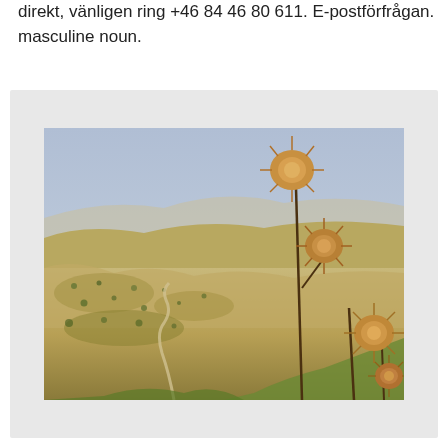direkt, vänligen ring +46 84 46 80 611. E-postförfrågan. masculine noun.
[Figure (photo): Landscape photo showing a panoramic view of dry hilly terrain with scattered trees and a winding road in the background. In the foreground on the right side, dried thistle-like plants with spiky golden-brown flower heads on tall stems are prominently visible. The sky is hazy blue-grey.]